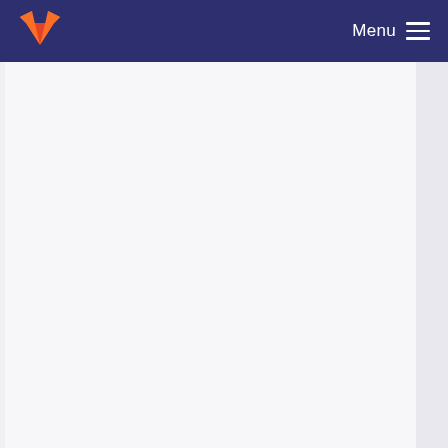Menu
Added more translators
Somnath, Suhas committed 5 years ago